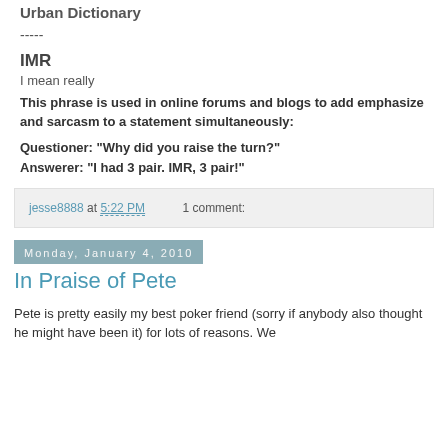Urban Dictionary
-----
IMR
I mean really
This phrase is used in online forums and blogs to add emphasize and sarcasm to a statement simultaneously:
Questioner: "Why did you raise the turn?"
Answerer: "I had 3 pair. IMR, 3 pair!"
jesse8888 at 5:22 PM    1 comment:
Monday, January 4, 2010
In Praise of Pete
Pete is pretty easily my best poker friend (sorry if anybody also thought he might have been it) for lots of reasons. We